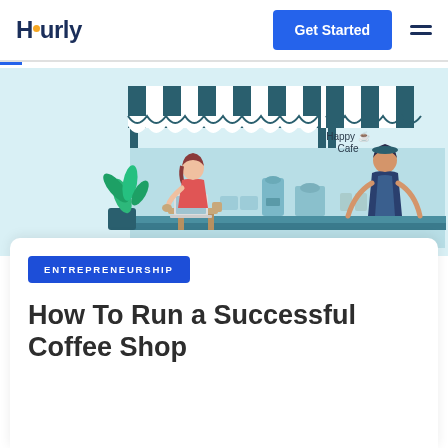Hourly
[Figure (illustration): Illustration of a coffee shop called 'Happy Cafe' with a striped awning, a customer sitting at a table with a laptop and coffee, a barista behind the counter, and a plant in the foreground. Light blue background.]
ENTREPRENEURSHIP
How To Run a Successful Coffee Shop